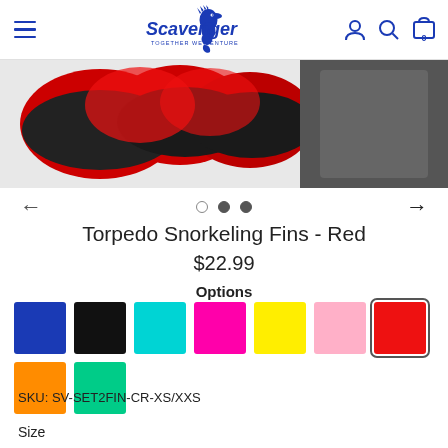[Figure (logo): Scavenger seahorse logo with text TOGETHER WE VENTURE in blue]
[Figure (photo): Red and black Torpedo Snorkeling Fins product image, partially cropped at top]
Torpedo Snorkeling Fins - Red
$22.99
Options
[Figure (other): Color swatches: blue, black, cyan, magenta, yellow, pink, red (selected), orange, green]
SKU: SV-SET2FIN-CR-XS/XXS
Size